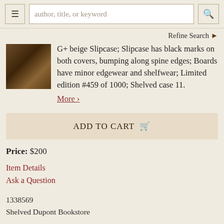author, title, or keyword [search bar] | Refine Search
G+ beige Slipcase; Slipcase has black marks on both covers, bumping along spine edges; Boards have minor edgewear and shelfwear; Limited edition #459 of 1000; Shelved case 11. More ›
ADD TO CART 🛒
Price: $200
Item Details
Ask a Question
1338569
Shelved Dupont Bookstore